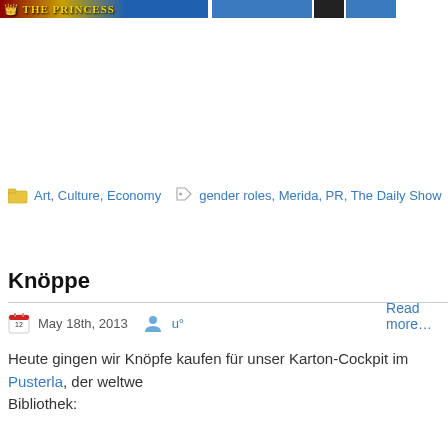[Figure (screenshot): Top banner with 'The Princess' text in stylized font with blue and dark image sections]
Read more…
Art, Culture, Economy   gender roles, Merida, PR, The Daily Show
Knöppe
May 18th, 2013   u°
Heute gingen wir Knöpfe kaufen für unser Karton-Cockpit im Pusterla, der weltwe... Bibliothek: